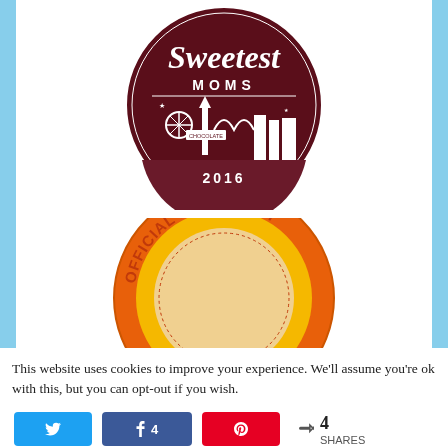[Figure (logo): Circular dark maroon badge logo reading 'Sweetest MOMS 2016' with a city/amusement park skyline silhouette inside]
[Figure (logo): Partial circular orange and yellow badge logo reading 'Official Denny's Di...' (partially cut off at bottom)]
This website uses cookies to improve your experience. We'll assume you're ok with this, but you can opt-out if you wish.
4 SHARES (social share bar with Twitter, Facebook, Pinterest buttons)